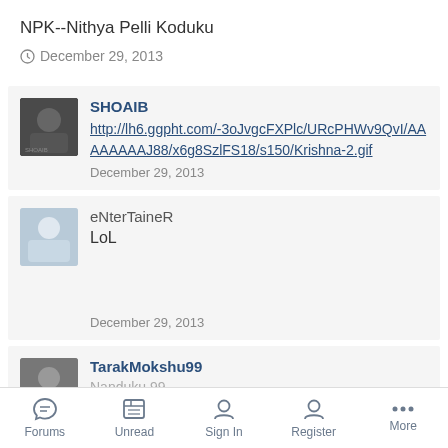NPK--Nithya Pelli Koduku
December 29, 2013
SHOAIB
http://lh6.ggpht.com/-3oJvgcFXPlc/URcPHWv9QvI/AAAAAAAAJ88/x6g8SzlFS18/s150/Krishna-2.gif
December 29, 2013
eNterTaineR
LoL
December 29, 2013
TarakMokshu99
Nanduku 99